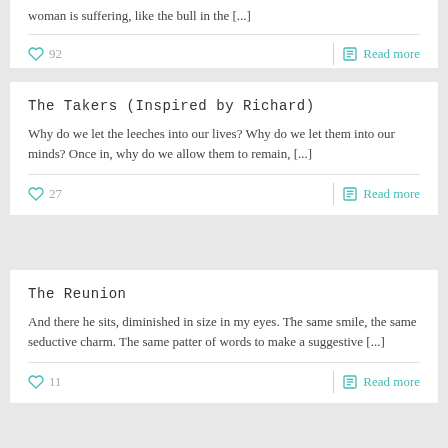woman is suffering, like the bull in the [...]
♡ 92
Read more
The Takers (Inspired by Richard)
Why do we let the leeches into our lives? Why do we let them into our minds? Once in, why do we allow them to remain, [...]
♡ 27
Read more
The Reunion
And there he sits, diminished in size in my eyes. The same smile, the same seductive charm. The same patter of words to make a suggestive [...]
♡ 11
Read more